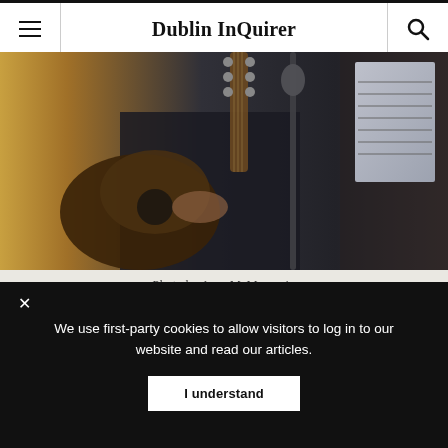Dublin InQuirer
[Figure (photo): Close-up photo of a person playing an acoustic guitar, with a microphone stand and sheet music visible in the background.]
Photo by Aura McMenamin
We use first-party cookies to allow visitors to log in to our website and read our articles.
I understand